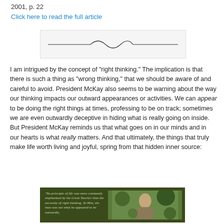2001, p. 22
Click here to read the full article
[Figure (illustration): Decorative horizontal divider line with a curved flourish in the center, on a light gray background box.]
I am intrigued by the concept of "right thinking." The implication is that there is such a thing as "wrong thinking," that we should be aware of and careful to avoid. President McKay also seems to be warning about the way our thinking impacts our outward appearances or activities. We can appear to be doing the right things at times, professing to be on track; sometimes we are even outwardly deceptive in hiding what is really going on inside. But President McKay reminds us that what goes on in our minds and in our hearts is what really matters. And that ultimately, the things that truly make life worth living and joyful, spring from that hidden inner source:
[Figure (photo): Dark olive green bordered image box split into two panels: left panel has italic quote text in light green on dark background reading 'No principle of life was more constantly emphasized by the Great Teacher than the necessity of right thinking. To Him, the man was not what he appeared to be outwardly,'; right panel shows a photo of a person outdoors with trees in background.]